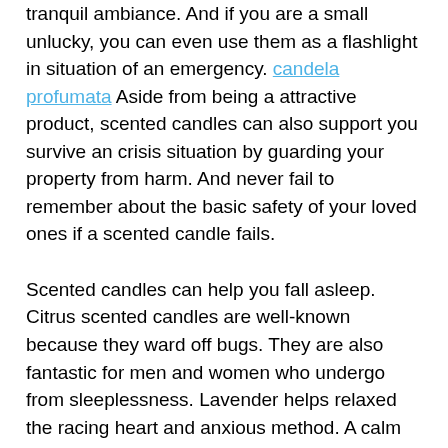tranquil ambiance. And if you are a small unlucky, you can even use them as a flashlight in situation of an emergency. candela profumata Aside from being a attractive product, scented candles can also support you survive an crisis situation by guarding your property from harm. And never fail to remember about the basic safety of your loved ones if a scented candle fails.
Scented candles can help you fall asleep. Citrus scented candles are well-known because they ward off bugs. They are also fantastic for men and women who undergo from sleeplessness. Lavender helps relaxed the racing heart and anxious method. A calm body will support you tumble asleep faster. With this, scented candles can be very useful to your wellness. They can assist you come to feel at relieve and minimize your pressure. They can also give you a sense of well-getting.